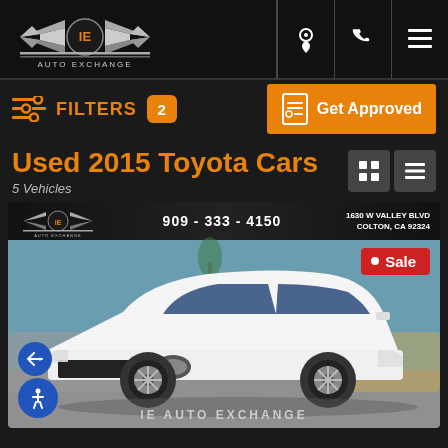[Figure (logo): IE Auto Exchange logo with wings on black header bar]
[Figure (infographic): Header icons: location pin, phone, hamburger menu]
[Figure (infographic): Filter icon with FILTERS label and badge showing 2]
[Figure (infographic): Get Approved button with document icon]
Used 2015 Toyota Cars
5 Vehicles
[Figure (photo): White 2015 Toyota Camry parked in dealership lot. IE Auto Exchange logo and contact info: 909-333-4150, 1630 W Valley Blvd, Colton, CA 92324. Sale badge in red top right. Navigation arrows and accessibility button bottom left.]